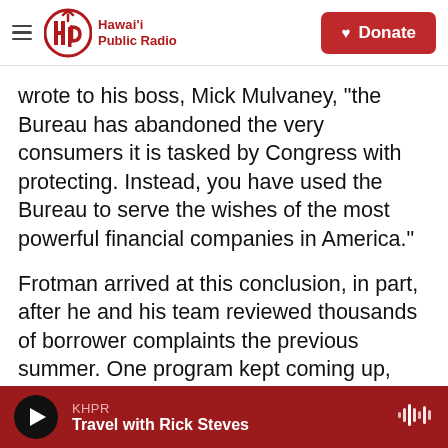Hawaii Public Radio — Donate
wrote to his boss, Mick Mulvaney, "the Bureau has abandoned the very consumers it is tasked by Congress with protecting. Instead, you have used the Bureau to serve the wishes of the most powerful financial companies in America."
Frotman arrived at this conclusion, in part, after he and his team reviewed thousands of borrower complaints the previous summer. One program kept coming up, hurting and infuriating the very people it was meant to help: the U.S. government's effort to reward student borrowers for public service — for being nurses, teachers and first
KHPR — Travel with Rick Steves